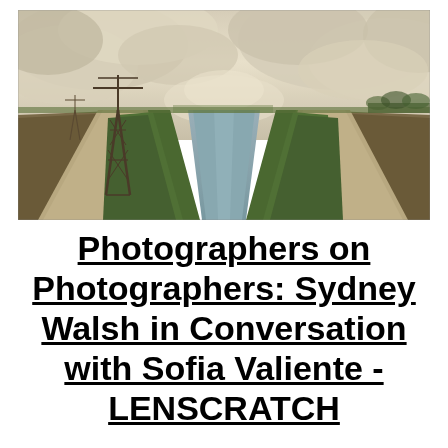[Figure (photo): Landscape photograph showing a straight irrigation canal or drainage ditch running from foreground to horizon. Dirt roads flank each side, with green scrubby vegetation on both banks. A large power transmission tower stands on the left side. Dramatic billowing white-tan smoke or dust clouds fill the upper sky. Flat agricultural land visible in the distance.]
Photographers on Photographers: Sydney Walsh in Conversation with Sofia Valiente - LENSCRATCH